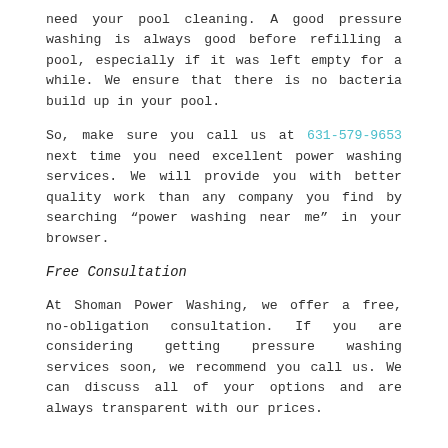need your pool cleaning. A good pressure washing is always good before refilling a pool, especially if it was left empty for a while. We ensure that there is no bacteria build up in your pool.
So, make sure you call us at 631-579-9653 next time you need excellent power washing services. We will provide you with better quality work than any company you find by searching “power washing near me” in your browser.
Free Consultation
At Shoman Power Washing, we offer a free, no-obligation consultation. If you are considering getting pressure washing services soon, we recommend you call us. We can discuss all of your options and are always transparent with our prices.